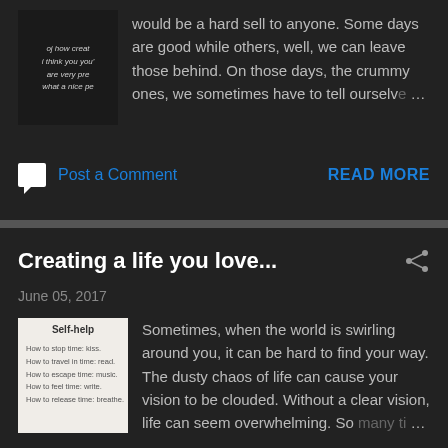would be a hard sell to anyone. Some days are good while others, well, we can leave those behind. On those days, the crummy ones, we sometimes have to tell ourselv…
Post a Comment
READ MORE
Creating a life you love...
June 05, 2017
[Figure (photo): Self-help book image with text listing how-to items]
Sometimes, when the world is swirling around you, it can be hard to find your way. The dusty chaos of life can cause your vision to be clouded. Without a clear vision, life can seem overwhelming. So many ti…